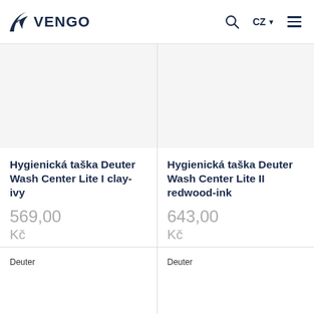[Figure (logo): Vengo logo with a stylized wing icon and dark blue text 'VENGO']
CZ ▼
Hygienická taška Deuter Wash Center Lite I clay-ivy
569,00
Kč
Deuter
Hygienická taška Deuter Wash Center Lite II redwood-ink
643,00
Kč
Deuter